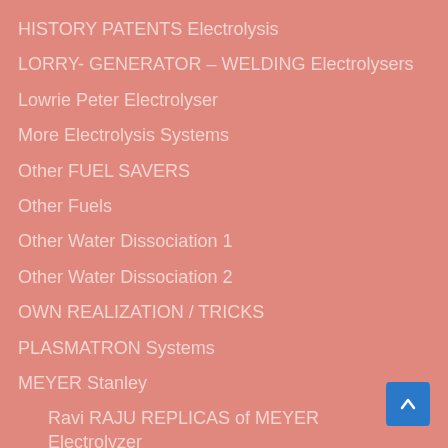HISTORY PATENTS Electrolysis
LORRY- GENERATOR – WELDING Electrolysers
Lowrie Peter Electrolyser
More Electrolysis Systems
Other FUEL SAVERS
Other Fuels
Other Water Dissociation 1
Other Water Dissociation 2
OWN REALIZATION / TRICKS
PLASMATRON Systems
MEYER Stanley
Ravi RAJU REPLICAS of MEYER Electrolyzer
REPLICAS of MEYER by Aaron and Qiman13
REPLICAS of MEYER – Qiman13 posts 1
REPLICAS of MEYER – Qiman13 posts 2